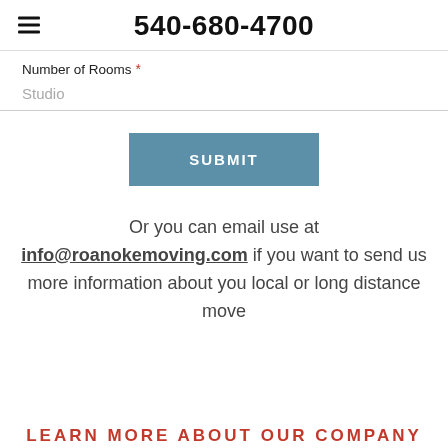540-680-4700
Number of Rooms *
Studio
SUBMIT
Or you can email use at info@roanokemoving.com if you want to send us more information about you local or long distance move
LEARN MORE ABOUT OUR COMPANY